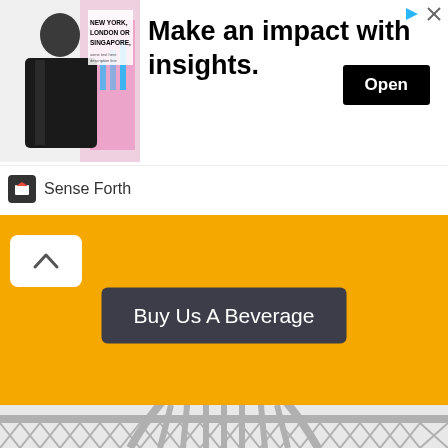[Figure (screenshot): Advertisement banner: Image of man in suit with 'NEW YORK, LONDON OR SINGAPORE,' text. Ad headline 'Make an impact with insights.' with black 'Open' button and close icons. Footer shows 'Sense Forth' logo.]
Buy Us A Beverage
[Figure (illustration): Gray bridge arch illustration (Tyne Bridge style) on light gray background with decorative truss girder base]